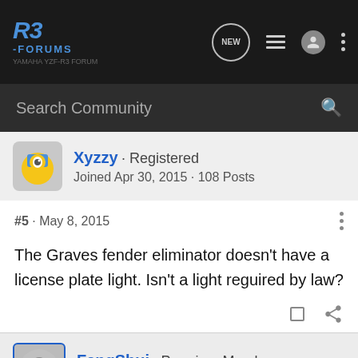[Figure (logo): R3 Forums logo in blue italic text on dark background]
Search Community
Xyzzy · Registered
Joined Apr 30, 2015 · 108 Posts
#5 · May 8, 2015
The Graves fender eliminator doesn't have a license plate light. Isn't a light reguired by law?
FangShui · Premium Member
Joined Mar 18, 2015 · 2,264 Posts